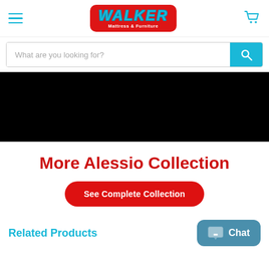Walker Mattress & Furniture - navigation header with hamburger menu, logo, and cart icon
What are you looking for?
[Figure (photo): Black banner/image area - product video or promotional banner]
More Alessio Collection
See Complete Collection
Related Products
Chat